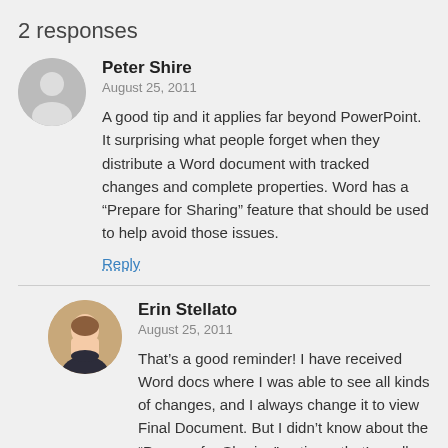2 responses
Peter Shire
August 25, 2011
A good tip and it applies far beyond PowerPoint. It surprising what people forget when they distribute a Word document with tracked changes and complete properties. Word has a “Prepare for Sharing” feature that should be used to help avoid those issues.
Reply
Erin Stellato
August 25, 2011
That’s a good reminder! I have received Word docs where I was able to see all kinds of changes, and I always change it to view Final Document. But I didn’t know about the “Prepare for Sharing” option – that’s really good to know. Thank you 🙂
Reply